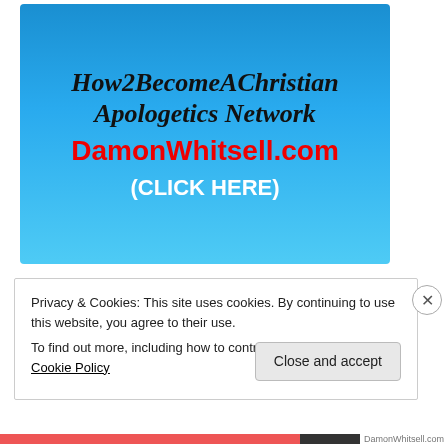[Figure (other): Blue gradient banner with cursive text 'How2BecomeAChristian Apologetics Network', red bold URL 'DamonWhitsell.com', and white bold text '(CLICK HERE)']
Privacy & Cookies: This site uses cookies. By continuing to use this website, you agree to their use.
To find out more, including how to control cookies, see here: Cookie Policy
Close and accept